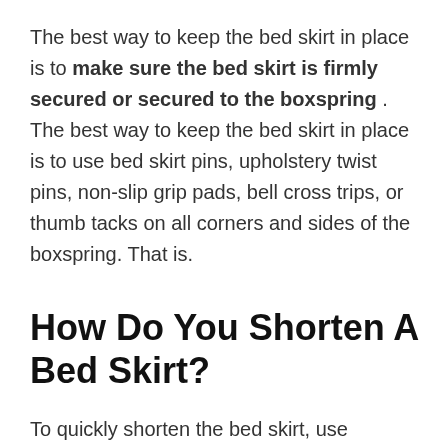The best way to keep the bed skirt in place is to make sure the bed skirt is firmly secured or secured to the boxspring . The best way to keep the bed skirt in place is to use bed skirt pins, upholstery twist pins, non-slip grip pads, bell cross trips, or thumb tacks on all corners and sides of the boxspring. That is.
How Do You Shorten A Bed Skirt?
To quickly shorten the bed skirt, use upholstery and bed skirt pins to hold the